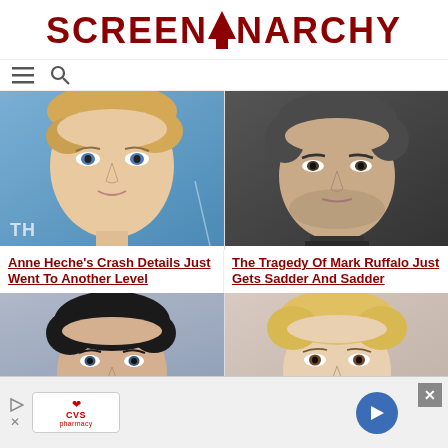SCREENANARCHY
[Figure (photo): Anne Heche headshot, blonde woman, blue background with TH text watermark]
Anne Heche's Crash Details Just Went To Another Level
[Figure (photo): Mark Ruffalo headshot, dark hair and stubble, dark clothing]
The Tragedy Of Mark Ruffalo Just Gets Sadder And Sadder
[Figure (photo): Young man with dark curly hair headshot]
[Figure (photo): Blonde woman with curly hair headshot]
[Figure (advertisement): CVS Pharmacy ad banner with close button and navigation arrow]